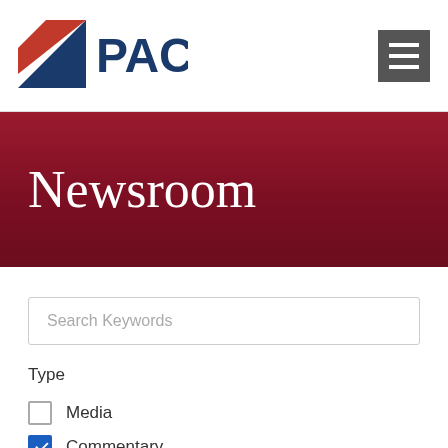[Figure (logo): PACE logo with blue triangle and red diagonal stripe, with bold blue PACE text]
Newsroom
Search Keywords
Type
Media (unchecked)
Commentary (checked)
Press Release (unchecked)